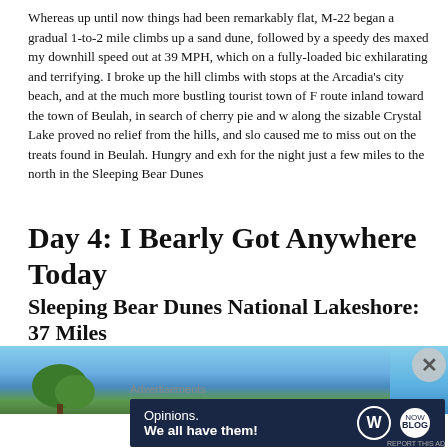Whereas up until now things had been remarkably flat, M-22 began a gradual 1-to-2 mile climbs up a sand dune, followed by a speedy des maxed my downhill speed out at 39 MPH, which on a fully-loaded bic exhilarating and terrifying. I broke up the hill climbs with stops at the Arcadia's city beach, and at the much more bustling tourist town of F route inland toward the town of Beulah, in search of cherry pie and w along the sizable Crystal Lake proved no relief from the hills, and slo caused me to miss out on the treats found in Beulah. Hungry and exh for the night just a few miles to the north in the Sleeping Bear Dunes
Day 4: I Bearly Got Anywhere Today
Sleeping Bear Dunes National Lakeshore: 37 Miles
[Figure (photo): Outdoor photo showing trees and blue sky, partial view of landscape]
Advertisements
[Figure (screenshot): WordPress advertisement banner: Opinions. We all have them!]